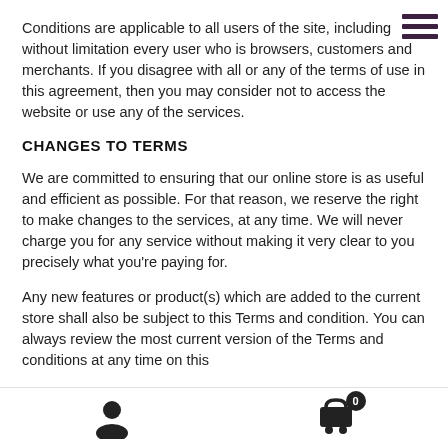Conditions are applicable to all users of the site, including without limitation every user who is browsers, customers and merchants. If you disagree with all or any of the terms of use in this agreement, then you may consider not to access the website or use any of the services.
CHANGES TO TERMS
We are committed to ensuring that our online store is as useful and efficient as possible. For that reason, we reserve the right to make changes to the services, at any time. We will never charge you for any service without making it very clear to you precisely what you’re paying for.
Any new features or product(s) which are added to the current store shall also be subject to this Terms and condition. You can always review the most current version of the Terms and conditions at any time on this
[Figure (other): Bottom navigation bar with user icon on left and shopping cart icon with badge showing 0 on right]